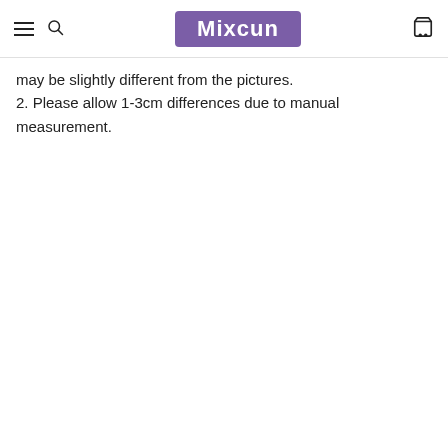Mixcun
may be slightly different from the pictures.
2. Please allow 1-3cm differences due to manual measurement.